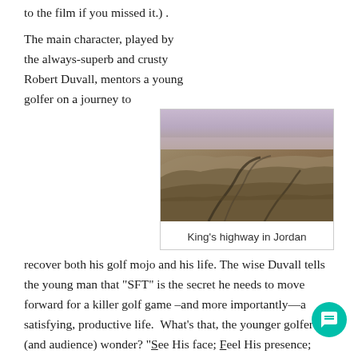to the film if you missed it.) .
The main character, played by the always-superb and crusty Robert Duvall, mentors a young golfer on a journey to recover both his golf mojo and his life. The wise Duvall tells the young man that “SFT” is the secret he needs to move forward for a killer golf game –and more importantly—a satisfying, productive life. What’s that, the younger golfer (and audience) wonder? “See His face; Feel His presence; Trust His love.” SFT.
[Figure (photo): Aerial view of King's highway in Jordan, showing a winding road through arid brown desert landscape with hills.]
King’s highway in Jordan
The best stories are about journeys, whether it’s Homer’s Ulysses figuring out how to get home to his beloved Penelope, or The Divine Comedy, where Dante’s journey is the ultimate of the soul toward God.